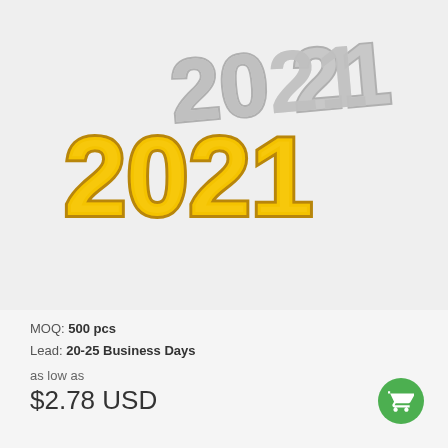[Figure (photo): Product photo of two layered '2021' year numeral decorations — one in gold glitter and one in silver glitter, displayed on a white background.]
MOQ: 500 pcs
Lead: 20-25 Business Days
as low as
$2.78 USD